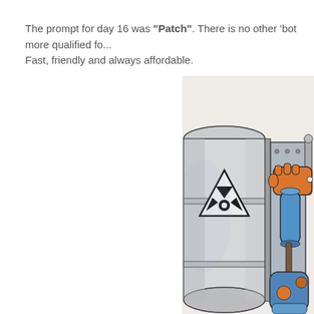The prompt for day 16 was "Patch". There is no other 'bot more qualified fo... Fast, friendly and always affordable.
[Figure (illustration): A colorful illustration showing a robot character (with orange gloved hands and blue body) holding a wrench and a cylindrical tool, standing next to a large grey barrel/drum with a radioactive warning symbol (triangle with radiation trefoil). The scene is drawn in a comic/cartoon style with ink and watercolor-style shading.]